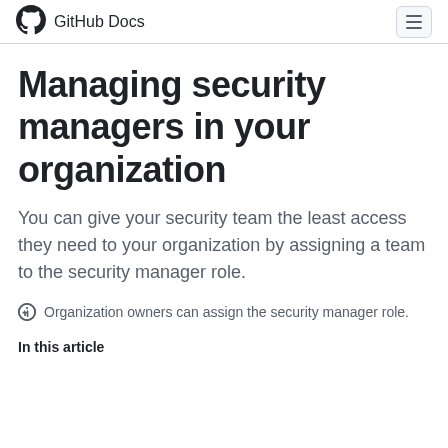GitHub Docs
Managing security managers in your organization
You can give your security team the least access they need to your organization by assigning a team to the security manager role.
Organization owners can assign the security manager role.
In this article